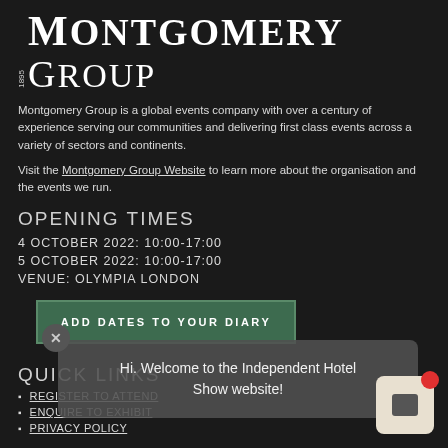1895 Montgomery Group
Montgomery Group is a global events company with over a century of experience serving our communities and delivering first class events across a variety of sectors and continents.
Visit the Montgomery Group Website to learn more about the organisation and the events we run.
OPENING TIMES
4 OCTOBER 2022: 10:00-17:00
5 OCTOBER 2022: 10:00-17:00
VENUE: OLYMPIA LONDON
ADD DATES TO YOUR DIARY
QUICK LINKS
Hi. Welcome to the Independent Hotel Show website!
REGISTER TO ATTEND
ENQUIRE TO EXHIBIT
PRIVACY POLICY